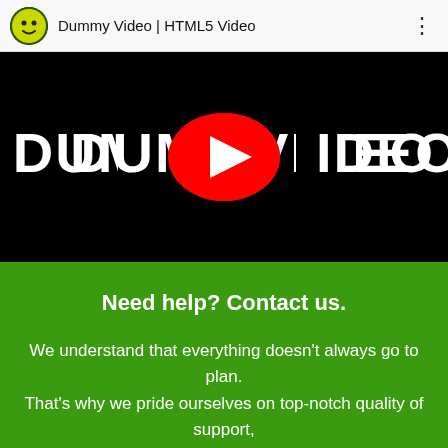Dummy Video | HTML5 Video
[Figure (screenshot): Video player thumbnail showing 'DUMMY VIDEO' text on black background with a red YouTube-style play button in the center]
Need help? Contact us.
We understand that everything doesn't always go to plan.
That's why we pride ourselves on top-notch quality of support,
any time of the day.
Call us today 512-566-4567